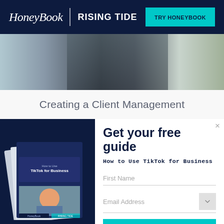HoneyBook | RISING TIDE  TRY HONEYBOOK
[Figure (photo): Person sitting in an office/studio environment near a window with plants]
Creating a Client Management
Get your free guide
How to Use TikTok for Business
[Figure (photo): Stack of printed guides titled 'How to Use TikTok for Business' with HoneyBook and Rising Tide branding]
First Name
Email Address
HOOK ME UP
By downloading, I agree to HoneyBook's Terms of Service